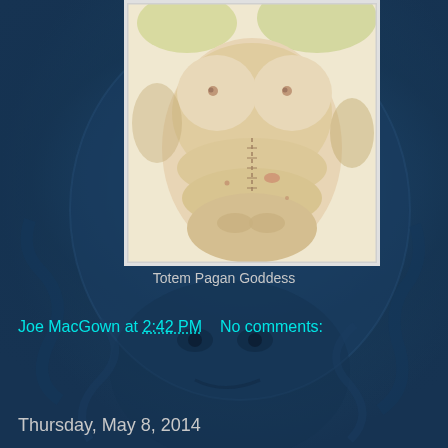[Figure (illustration): Colored pencil illustration titled 'Totem Pagan Goddess' depicting a rounded, totem-like female figure with stylized anatomy against a light background]
Totem Pagan Goddess
Joe MacGown at 2:42 PM    No comments:
Share
Thursday, May 8, 2014